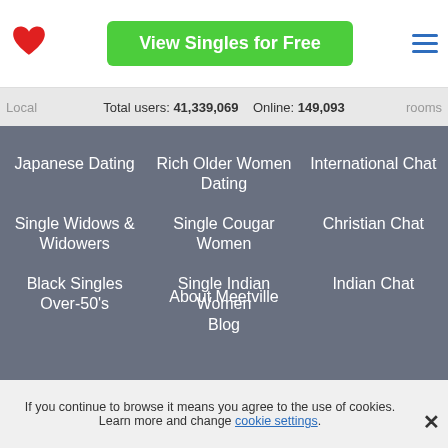[Figure (logo): Red heart logo icon]
View Singles for Free
[Figure (other): Hamburger menu icon (three horizontal blue lines)]
Total users: 41,339,069   Online: 149,093
Japanese Dating
Single Widows & Widowers
Black Singles Over-50's
Rich Older Women Dating
Single Cougar Women
Single Indian Women
International Chat
Christian Chat
Indian Chat
About Meetville
Blog
If you continue to browse it means you agree to the use of cookies. Learn more and change cookie settings.